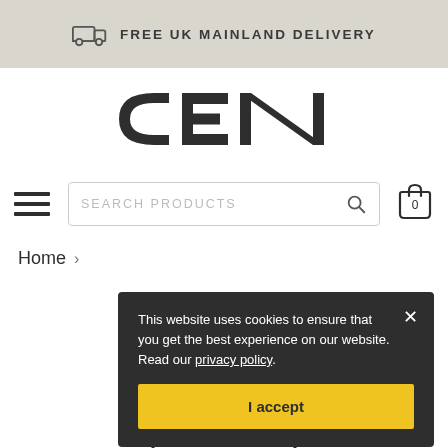FREE UK MAINLAND DELIVERY
[Figure (logo): CEN brand logo in bold dark text]
[Figure (infographic): Navigation bar with hamburger menu, search box with placeholder SEARCH PRODUCTS, search icon, and shopping cart icon with 0 items]
Home >
This website uses cookies to ensure that you get the best experience on our website. Read our privacy policy.
I accept
[Figure (other): Partially visible circular badge at bottom showing '70' or similar number]